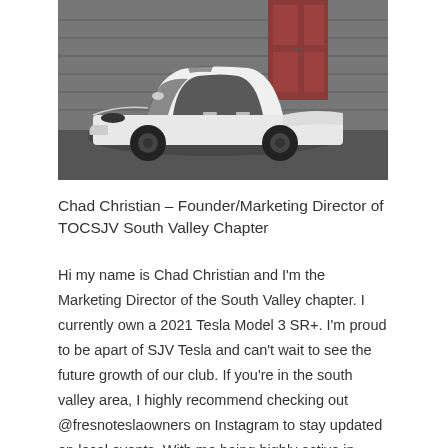[Figure (photo): Black and white photo of a white Tesla Model 3 with black wheels and black accents, parked in front of a brick building with a red door.]
Chad Christian – Founder/Marketing Director of TOCSJV South Valley Chapter
Hi my name is Chad Christian and I'm the Marketing Director of the South Valley chapter. I currently own a 2021 Tesla Model 3 SR+. I'm proud to be apart of SJV Tesla and can't wait to see the future growth of our club. If you're in the south valley area, I highly recommend checking out @fresnoteslaowners on Instagram to stay updated on local events. With me being highly active in